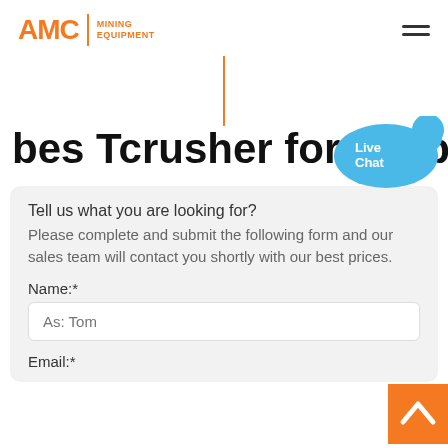AMC Mining Equipment
bes Tcrusher for kimberli
[Figure (illustration): Orange vertical decorative line divider]
[Figure (illustration): Live Chat speech bubble widget in blue with 'Live Chat' text and X close button]
Tell us what you are looking for? Please complete and submit the following form and our sales team will contact you shortly with our best prices.
Name:*
As: Tom
Email:*